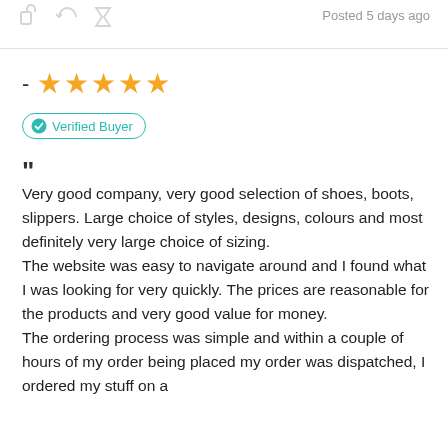[Figure (other): Three small grey icon buttons (share/reply/flag style icons) at top left]
Posted 5 days ago
- ★★★★★
✓ Verified Buyer
"Very good company, very good selection of shoes, boots, slippers. Large choice of styles, designs, colours and most definitely very large choice of sizing.
The website was easy to navigate around and I found what I was looking for very quickly. The prices are reasonable for the products and very good value for money.
The ordering process was simple and within a couple of hours of my order being placed my order was dispatched, I ordered my stuff on a